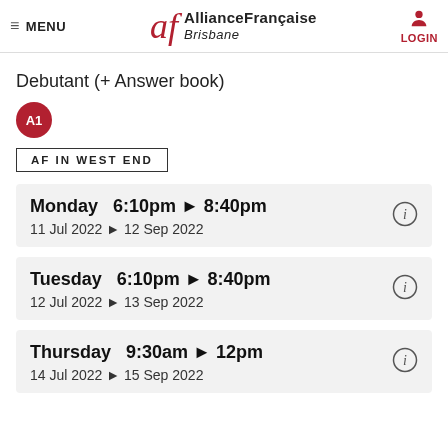MENU | Alliance Française Brisbane | LOGIN
Debutant (+ Answer book)
[Figure (other): Red circular badge with white text 'A1']
AF IN WEST END
Monday   6:10pm ▶ 8:40pm
11 Jul 2022 ▶ 12 Sep 2022
Tuesday   6:10pm ▶ 8:40pm
12 Jul 2022 ▶ 13 Sep 2022
Thursday   9:30am ▶ 12pm
14 Jul 2022 ▶ 15 Sep 2022